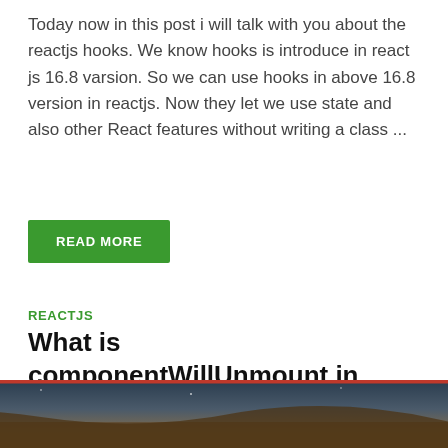Today now in this post i will talk with you about the reactjs hooks. We know hooks is introduce in react js 16.8 varsion. So we can use hooks in above 16.8 version in reactjs. Now they let we use state and also other React features without writing a class ...
READ MORE
REACTJS
What is componentWillUnmount in Reactjs With Example
April 30, 2021  -  by Shahriar Sagor
[Figure (other): Advertisement banner with dark landscape photo background showing text 'Your next hotel is waiting for you' with red border and playback/close controls in top right]